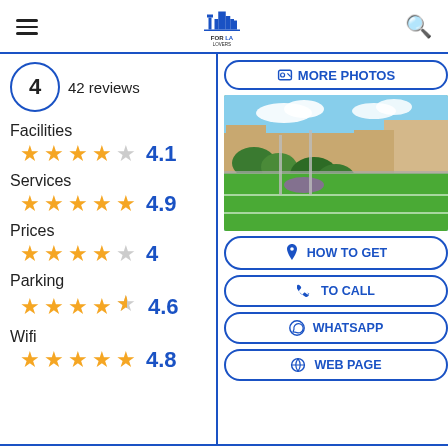FOR LA LOVERS
4 - 42 reviews
Facilities 4.1
Services 4.9
Prices 4
Parking 4.6
Wifi 4.8
[Figure (photo): Outdoor sports field with green artificial turf, surrounded by trees and buildings]
MORE PHOTOS
HOW TO GET
TO CALL
WHATSAPP
WEB PAGE